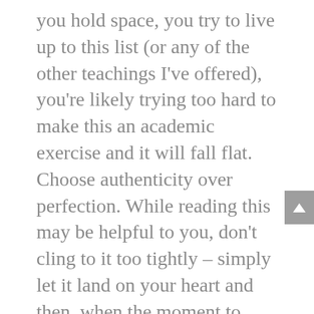you hold space, you try to live up to this list (or any of the other teachings I've offered), you're likely trying too hard to make this an academic exercise and it will fall flat. Choose authenticity over perfection. While reading this may be helpful to you, don't cling to it too tightly – simply let it land on your heart and then, when the moment to hold space for someone comes, trust that you have enough wisdom for that moment. If you fail, forgive yourself (and come